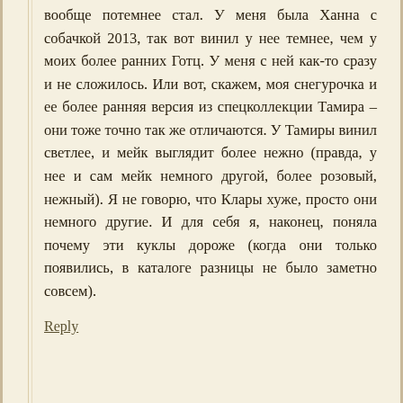вообще потемнее стал. У меня была Ханна с собачкой 2013, так вот винил у нее темнее, чем у моих более ранних Готц. У меня с ней как-то сразу и не сложилось. Или вот, скажем, моя снегурочка и ее более ранняя версия из спецколлекции Тамира – они тоже точно так же отличаются. У Тамиры винил светлее, и мейк выглядит более нежно (правда, у нее и сам мейк немного другой, более розовый, нежный). Я не говорю, что Клары хуже, просто они немного другие. И для себя я, наконец, поняла почему эти куклы дороже (когда они только появились, в каталоге разницы не было заметно совсем).
Reply